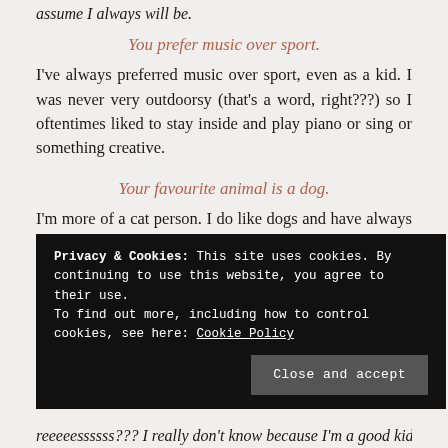assume I always will be.
You prefer music over sport.
I've always preferred music over sport, even as a kid. I was never very outdoorsy (that's a word, right???) so I oftentimes liked to stay inside and play piano or sing or something creative.
Your favourite animal is a dog.
I'm more of a cat person. I do like dogs and have always had one, but cats are more my type.
Privacy & Cookies: This site uses cookies. By continuing to use this website, you agree to their use. To find out more, including how to control cookies, see here: Cookie Policy
Close and accept
reeeeessssss??? I really don't know because I'm a good kid